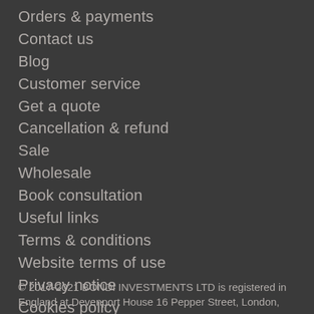Orders & payments
Contact us
Blog
Customer service
Get a quote
Cancellation & refund
Sale
Wholesale
Book consultation
Useful links
Terms & conditions
Website terms of use
Privacy notice
Cookies policy
Data protection
© 2017-2021 BONDI INVESTMENTS LTD is registered in England at Devenport House 16 Pepper Street, London,